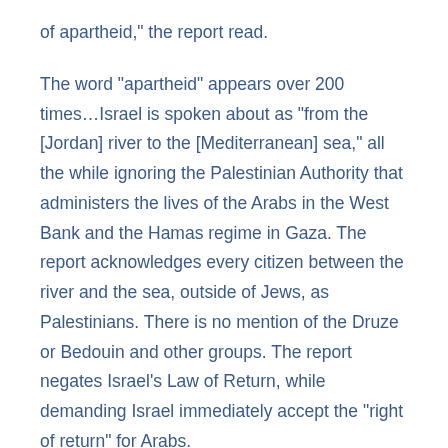of apartheid," the report read.
The word "apartheid" appears over 200 times…Israel is spoken about as "from the [Jordan] river to the [Mediterranean] sea," all the while ignoring the Palestinian Authority that administers the lives of the Arabs in the West Bank and the Hamas regime in Gaza. The report acknowledges every citizen between the river and the sea, outside of Jews, as Palestinians. There is no mention of the Druze or Bedouin and other groups. The report negates Israel's Law of Return, while demanding Israel immediately accept the "right of return" for Arabs.
Israel's Strategic Affairs Minister Michael Biton responded, "There is no connection between HRW's report